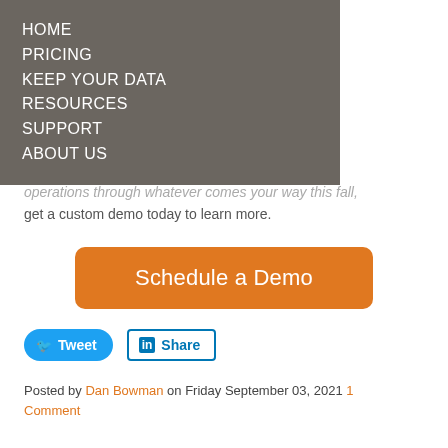HOME
PRICING
KEEP YOUR DATA
RESOURCES
SUPPORT
ABOUT US
operations through whatever comes your way this fall, get a custom demo today to learn more.
[Figure (other): Orange rounded rectangle button with white text: Schedule a Demo]
[Figure (other): Blue Tweet button and LinkedIn Share button]
Posted by Dan Bowman on Friday September 03, 2021 1 Comment